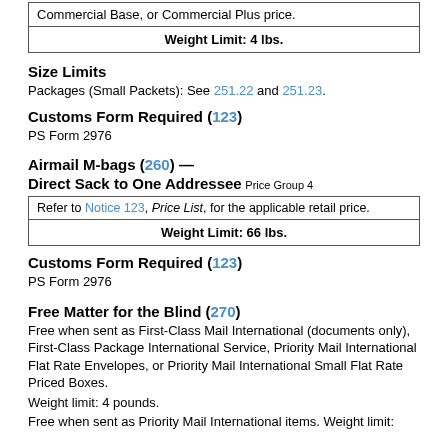| Commercial Base, or Commercial Plus price. |
| Weight Limit: 4 lbs. |
Size Limits
Packages (Small Packets): See 251.22 and 251.23.
Customs Form Required (123)
PS Form 2976
Airmail M-bags (260) —
Direct Sack to One Addressee Price Group 4
| Refer to Notice 123, Price List, for the applicable retail price. |
| Weight Limit: 66 lbs. |
Customs Form Required (123)
PS Form 2976
Free Matter for the Blind (270)
Free when sent as First-Class Mail International (documents only), First-Class Package International Service, Priority Mail International Flat Rate Envelopes, or Priority Mail International Small Flat Rate Priced Boxes.
Weight limit: 4 pounds.
Free when sent as Priority Mail International items. Weight limit: